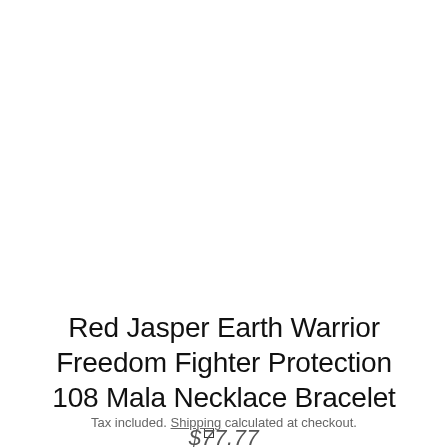[Figure (other): Small hollow square icon/thumbnail placeholder]
Red Jasper Earth Warrior Freedom Fighter Protection 108 Mala Necklace Bracelet
$77.77
Tax included. Shipping calculated at checkout.